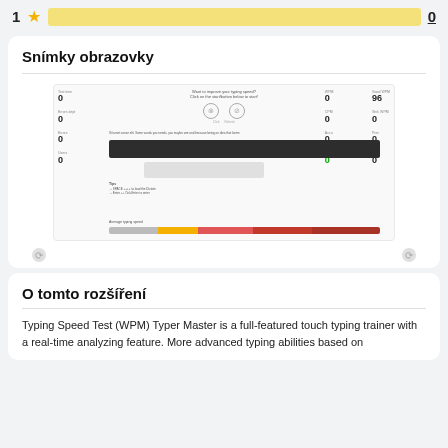1 ★ [rating bar] 0
Snímky obrazovky
[Figure (screenshot): Screenshot of Typing Speed Test (WPM) Typer Master app showing stats panel with zeros, dark input bar, speed bar with color segments]
O tomto rozšíření
Typing Speed Test (WPM) Typer Master is a full-featured touch typing trainer with a real-time analyzing feature. More advanced typing abilities based on